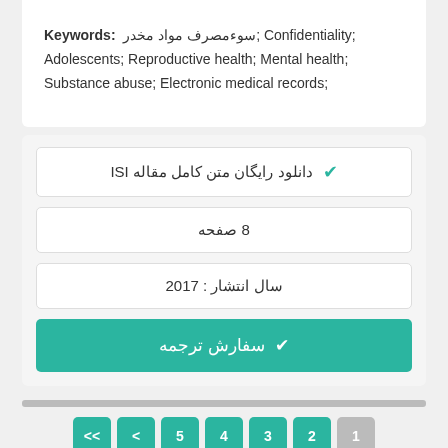Keywords: سوءمصرف مواد مخدر; Confidentiality; Adolescents; Reproductive health; Mental health; Substance abuse; Electronic medical records;
دانلود رایگان متن کامل مقاله ISI ✓
8 صفحه
سال انتشار : 2017
✓ سفارش ترجمه